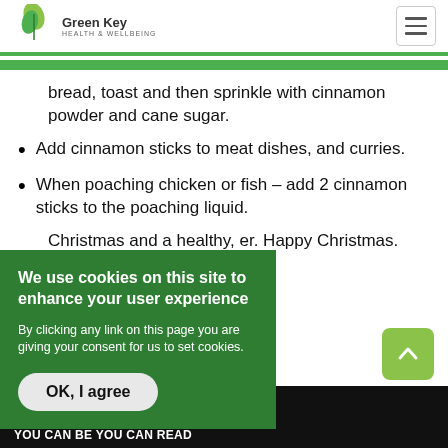Green Key Health & Wellbeing
bread, toast and then sprinkle with cinnamon powder and cane sugar.
Add cinnamon sticks to meat dishes, and curries.
When poaching chicken or fish – add 2 cinnamon sticks to the poaching liquid.
Christmas and a healthy, er. Happy Christmas.
nding avoid large doses.
T HOW TO TAKE A HOLISTIC ELL-BEING, TO TREAT ILLNESS YOU CAN BE YOU CAN READ